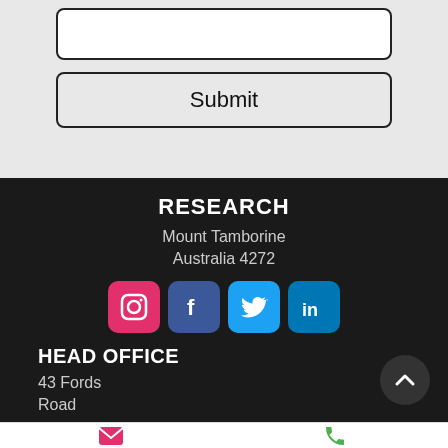[Figure (screenshot): Input text box (white rectangle with border)]
[Figure (screenshot): Submit button (light grey rectangle with rounded corners and label 'Submit')]
RESEARCH
Mount Tamborine
Australia 4272
[Figure (infographic): Four social media icons: Instagram (pink), Facebook (dark blue), Twitter (light blue), LinkedIn (dark teal)]
HEAD OFFICE
43 Fords
Road
[Figure (infographic): Back to top circular dark button with upward chevron]
Email    Phone